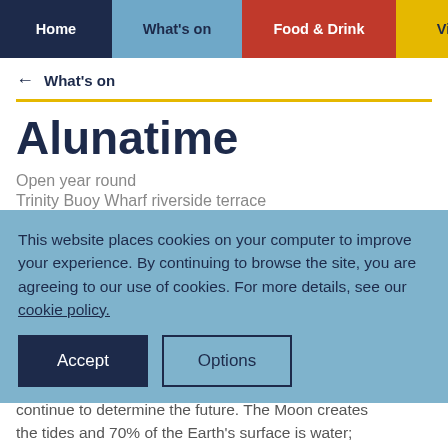Home | What's on | Food & Drink | Visit
← What's on
Alunatime
Open year round
Trinity Buoy Wharf riverside terrace
This website places cookies on your computer to improve your experience. By continuing to browse the site, you are agreeing to our use of cookies. For more details, see our cookie policy.
continue to determine the future. The Moon creates the tides and 70% of the Earth's surface is water;